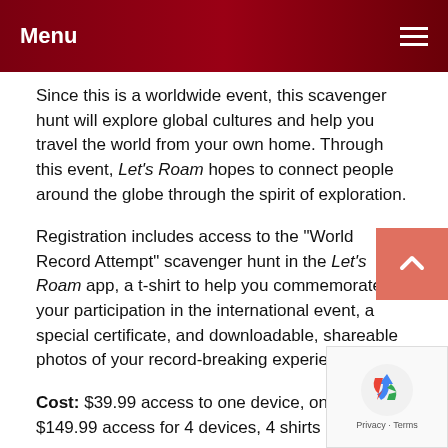Menu
Since this is a worldwide event, this scavenger hunt will explore global cultures and help you travel the world from your own home. Through this event, Let's Roam hopes to connect people around the globe through the spirit of exploration.
Registration includes access to the “World Record Attempt” scavenger hunt in the Let’s Roam app, a t-shirt to help you commemorate your participation in the international event, a special certificate, and downloadable, shareable photos of your record-breaking experience.
Cost: $39.99 access to one device, one shirt | $149.99 access for 4 devices, 4 shirts
CLICK HERE TO REGISTER